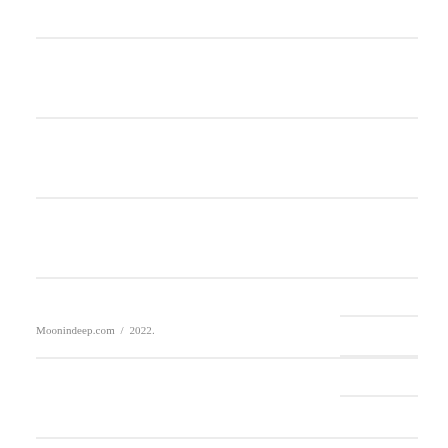[Figure (other): Lined notebook page with horizontal ruled lines and three short lines on the right side near the bottom]
Moonindeep.com  /  2022.